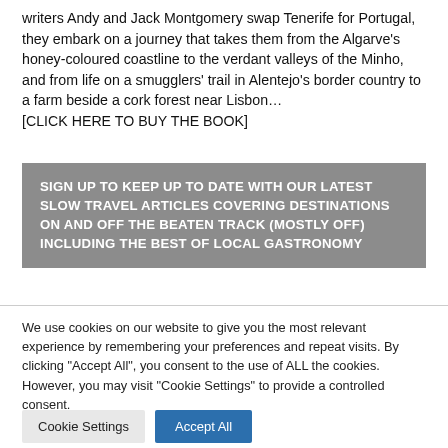writers Andy and Jack Montgomery swap Tenerife for Portugal, they embark on a journey that takes them from the Algarve's honey-coloured coastline to the verdant valleys of the Minho, and from life on a smugglers' trail in Alentejo's border country to a farm beside a cork forest near Lisbon… [CLICK HERE TO BUY THE BOOK]
SIGN UP TO KEEP UP TO DATE WITH OUR LATEST SLOW TRAVEL ARTICLES COVERING DESTINATIONS ON AND OFF THE BEATEN TRACK (MOSTLY OFF) INCLUDING THE BEST OF LOCAL GASTRONOMY
We use cookies on our website to give you the most relevant experience by remembering your preferences and repeat visits. By clicking "Accept All", you consent to the use of ALL the cookies. However, you may visit "Cookie Settings" to provide a controlled consent.
Cookie Settings | Accept All